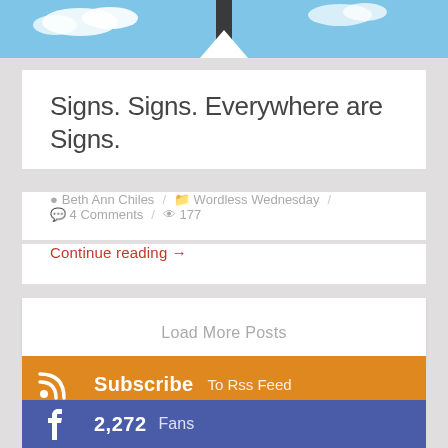[Figure (photo): Top cropped image showing sky with clouds and what appears to be a signpost, with a white arrow/chevron shape at the bottom]
Signs. Signs. Everywhere are Signs.
Beth Ann Chiles / Wordless Wednesday / 4 Comments / 177
Continue reading →
Load More Posts
Subscribe To Rss Feed
2,256 Followers
2,272 Fans